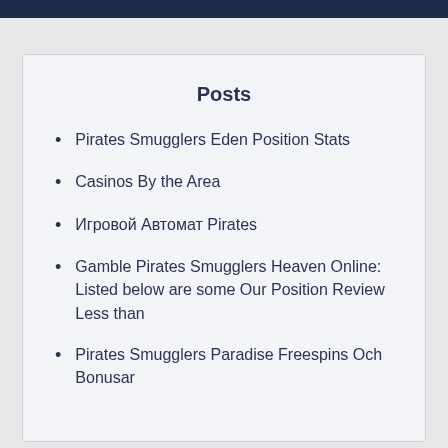Posts
Pirates Smugglers Eden Position Stats
Casinos By the Area
Игровой Автомат Pirates
Gamble Pirates Smugglers Heaven Online: Listed below are some Our Position Review Less than
Pirates Smugglers Paradise Freespins Och Bonusar